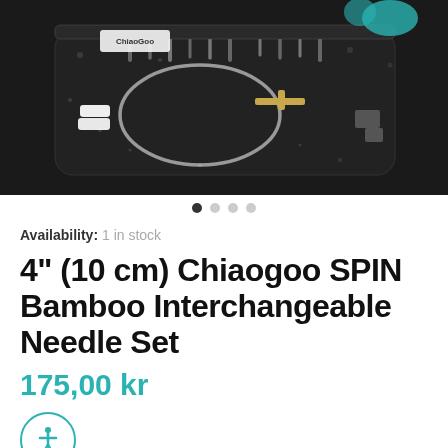[Figure (photo): Product photo of a Chiaogoo SPIN Bamboo Interchangeable Needle Set in a black zippered case with knitting needles, cables, and accessories laid out.]
Availability: 1 in stock
4" (10 cm) Chiaogoo SPIN Bamboo Interchangeable Needle Set
175,00 kr
TAX FREE SHOPPING & VAT INFORMATION